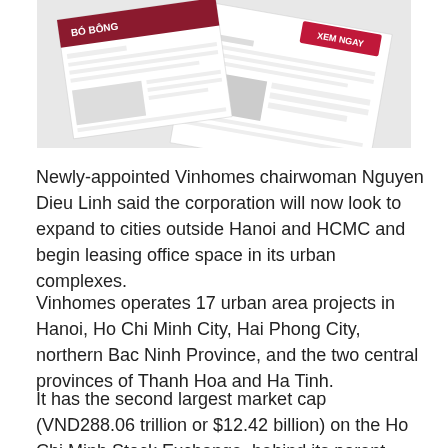[Figure (screenshot): Advertisement banner showing website pages with Vietnamese text 'XEM NGAY' (See Now) button and 'BÓ BÔNG' text visible on a tilted page mockup]
Newly-appointed Vinhomes chairwoman Nguyen Dieu Linh said the corporation will now look to expand to cities outside Hanoi and HCMC and begin leasing office space in its urban complexes.
Vinhomes operates 17 urban area projects in Hanoi, Ho Chi Minh City, Hai Phong City, northern Bac Ninh Province, and the two central provinces of Thanh Hoa and Ha Tinh.
It has the second largest market cap (VND288.06 trillion or $12.42 billion) on the Ho Chi Minh Stock Exchange, behind its parent company Vingroup (VIC), which is Vietnam's largest private conglomerate.